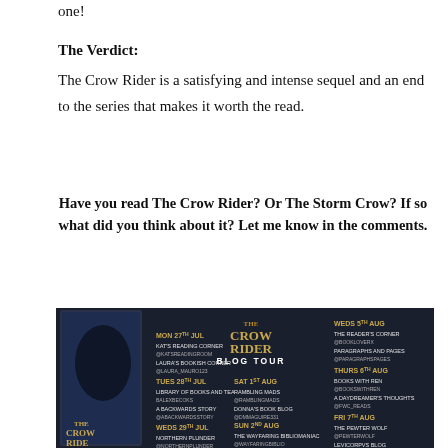one!
The Verdict:
The Crow Rider is a satisfying and intense sequel and an end to the series that makes it worth the read.
Have you read The Crow Rider? Or The Storm Crow? If so what did you think about it? Let me know in the comments.
[Figure (infographic): The Crow Rider Blog Tour promotional image showing a book cover on the left and a schedule of blog tour dates and participants on a dark background.]